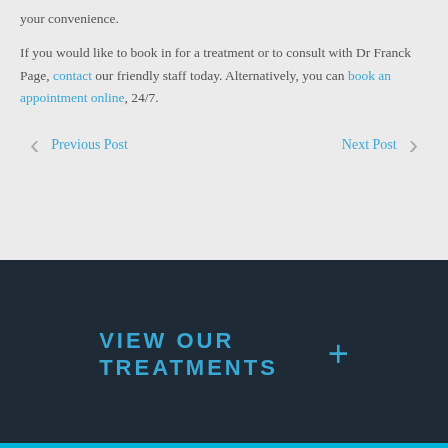your convenience.
If you would like to book in for a treatment or to consult with Dr Franck Page, contact our friendly staff today. Alternatively, you can book an appointment online, 24/7.
Previous Post  Next Post
VIEW OUR TREATMENTS